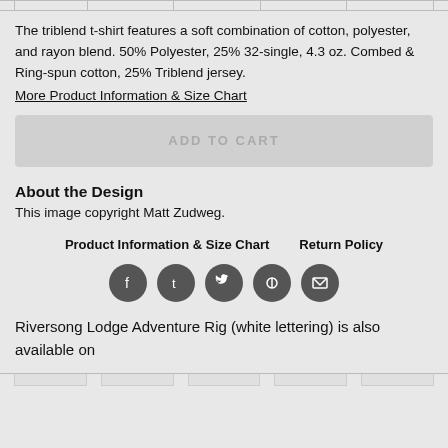[Figure (other): Cropped top row of product variant thumbnails]
The triblend t-shirt features a soft combination of cotton, polyester, and rayon blend. 50% Polyester, 25% 32-single, 4.3 oz. Combed & Ring-spun cotton, 25% Triblend jersey.
More Product Information & Size Chart
ADD TO CART
About the Design
This image copyright Matt Zudweg.
Product Information & Size Chart    Return Policy
[Figure (other): Social share icons: Facebook, Tumblr, Twitter, Pinterest, Email]
Riversong Lodge Adventure Rig (white lettering) is also available on
[Figure (other): Cropped bottom row of product thumbnails]